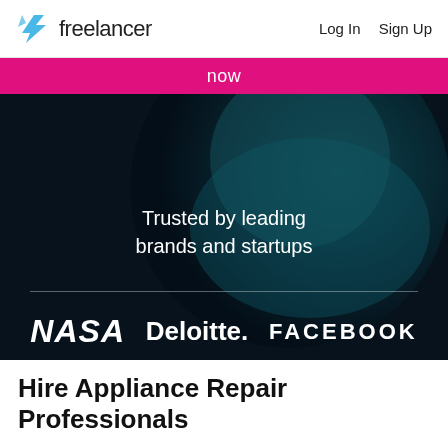freelancer  Log In  Sign Up
[Figure (screenshot): Freelancer website hero section with dark background and teal-lit figure, pink bar at top showing 'now', text 'Trusted by leading brands and startups', brand logos: NASA, Deloitte., FACEBOOK]
Hire Appliance Repair Professionals